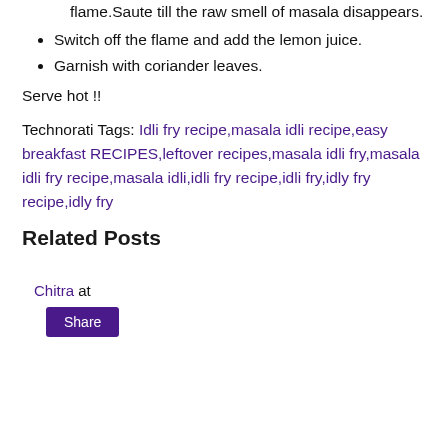well for few minutes by simmering the flame.Saute till the raw smell of masala disappears.
Switch off the flame and add the lemon juice.
Garnish with coriander leaves.
Serve hot !!
Technorati Tags: Idli fry recipe,masala idli recipe,easy breakfast RECIPES,leftover recipes,masala idli fry,masala idli fry recipe,masala idli,idli fry recipe,idli fry,idly fry recipe,idly fry
Related Posts
Chitra at
Share